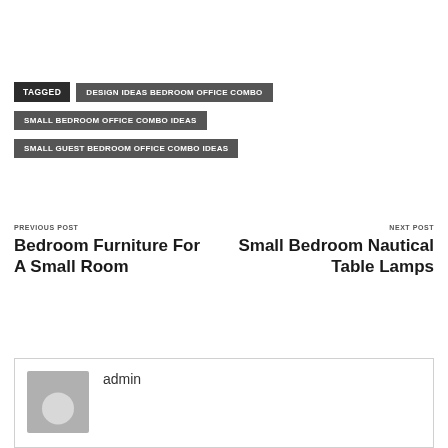TAGGED  DESIGN IDEAS BEDROOM OFFICE COMBO
SMALL BEDROOM OFFICE COMBO IDEAS
SMALL GUEST BEDROOM OFFICE COMBO IDEAS
PREVIOUS POST
Bedroom Furniture For A Small Room
NEXT POST
Small Bedroom Nautical Table Lamps
admin